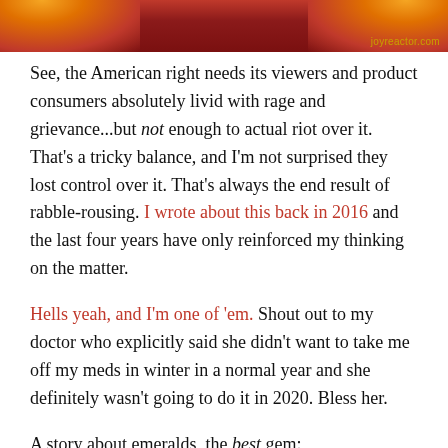[Figure (photo): Banner image with flames and dark red/crimson background, watermark reading joyreactor.com in lower right]
See, the American right needs its viewers and product consumers absolutely livid with rage and grievance...but not enough to actual riot over it. That's a tricky balance, and I'm not surprised they lost control over it. That's always the end result of rabble-rousing. I wrote about this back in 2016 and the last four years have only reinforced my thinking on the matter.
Hells yeah, and I'm one of 'em. Shout out to my doctor who explicitly said she didn't want to take me off my meds in winter in a normal year and she definitely wasn't going to do it in 2020. Bless her.
A story about emeralds, the best gem: